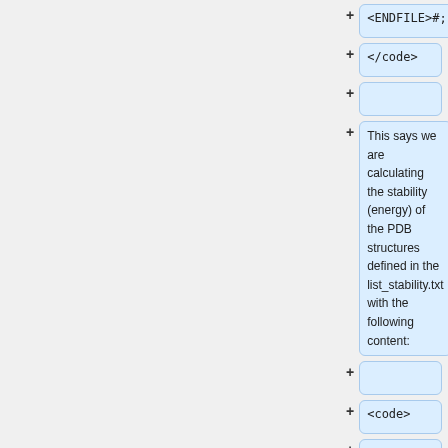<ENDFILE>#;
</code>
This says we are calculating the stability (energy) of the PDB structures defined in the list_stability.txt with the following content:
<code>
1J8U.pdb
_1J8U_G312D.pdb
_1J8U_P275S.pdb
_1J8U_P281L.pdb